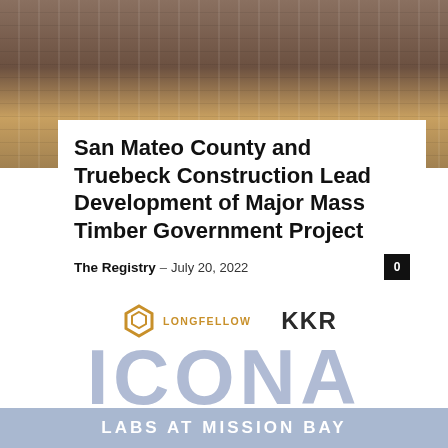[Figure (photo): Exterior photo of a modern multi-story building with glass and timber/metal cladding, partially obscured by trees in the foreground.]
San Mateo County and Truebeck Construction Lead Development of Major Mass Timber Government Project
The Registry – July 20, 2022
[Figure (logo): Longfellow logo (hexagon icon in gold/amber) with text LONGFELLOW, and KKR logo text in bold dark letters]
[Figure (logo): ICONA LABS AT MISSION BAY branding — large ICONA letters in steel blue/grey, with LABS AT MISSION BAY text on a blue-grey banner at the bottom]